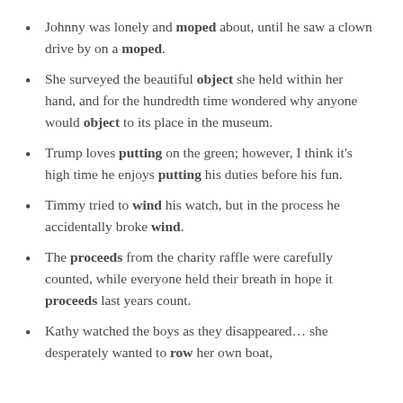Johnny was lonely and moped about, until he saw a clown drive by on a moped.
She surveyed the beautiful object she held within her hand, and for the hundredth time wondered why anyone would object to its place in the museum.
Trump loves putting on the green; however, I think it's high time he enjoys putting his duties before his fun.
Timmy tried to wind his watch, but in the process he accidentally broke wind.
The proceeds from the charity raffle were carefully counted, while everyone held their breath in hope it proceeds last years count.
Kathy watched the boys as they disappeared… she desperately wanted to row her own boat,